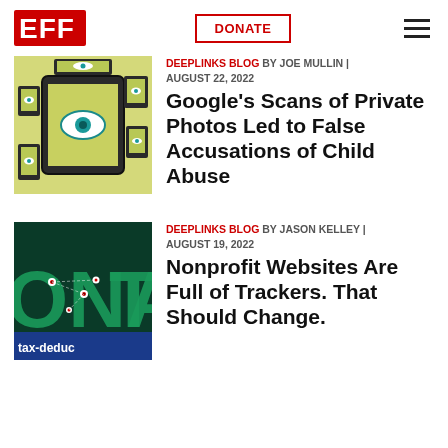EFF | DONATE | (navigation)
[Figure (illustration): EFF logo in red with bold letters E-F-F]
[Figure (illustration): Illustration of surveillance: phones and tablets with eyes on a yellow-green background]
DEEPLINKS BLOG BY JOE MULLIN | AUGUST 22, 2022
Google’s Scans of Private Photos Led to False Accusations of Child Abuse
[Figure (illustration): Illustration showing the word DONATE in large letters with eyes/trackers, green and dark background, with text 'tax-deduc...']
DEEPLINKS BLOG BY JASON KELLEY | AUGUST 19, 2022
Nonprofit Websites Are Full of Trackers. That Should Change.